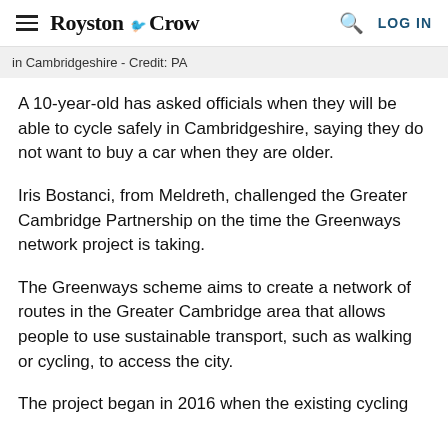Royston Crow — LOG IN
in Cambridgeshire - Credit: PA
A 10-year-old has asked officials when they will be able to cycle safely in Cambridgeshire, saying they do not want to buy a car when they are older.
Iris Bostanci, from Meldreth, challenged the Greater Cambridge Partnership on the time the Greenways network project is taking.
The Greenways scheme aims to create a network of routes in the Greater Cambridge area that allows people to use sustainable transport, such as walking or cycling, to access the city.
The project began in 2016 when the existing cycling